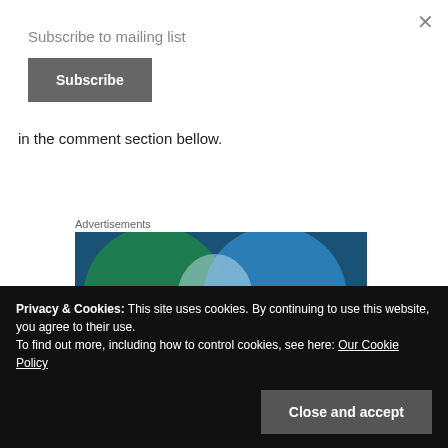×
Subscribe to mailing list
Subscribe
in the comment section bellow.
Advertisements
[Figure (illustration): Advertisement banner with abstract overlapping circles in teal/green and blue colors on a dark blue background]
Privacy & Cookies: This site uses cookies. By continuing to use this website, you agree to their use.
To find out more, including how to control cookies, see here: Our Cookie Policy
Close and accept